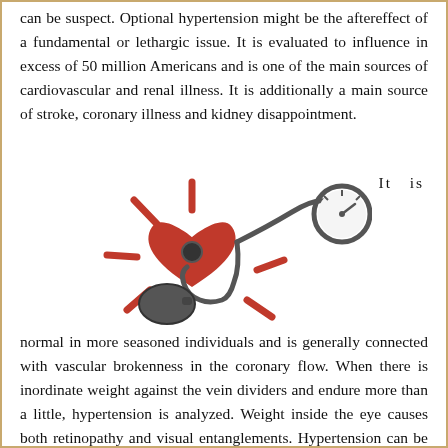can be suspect. Optional hypertension might be the aftereffect of a fundamental or lethargic issue. It is evaluated to influence in excess of 50 million Americans and is one of the main sources of cardiovascular and renal illness. It is additionally a main source of stroke, coronary illness and kidney disappointment.
[Figure (illustration): Illustration of a red heart with radiating lines suggesting urgency/pain, connected to a blood pressure cuff and gauge (sphygmomanometer), symbolizing hypertension/high blood pressure.]
It is normal in more seasoned individuals and is generally connected with vascular brokenness in the coronary flow. When there is inordinate weight against the vein dividers and endure more than a little, hypertension is analyzed. Weight inside the eye causes both retinopathy and visual entanglements. Hypertension can be a genuine condition since it can make harm